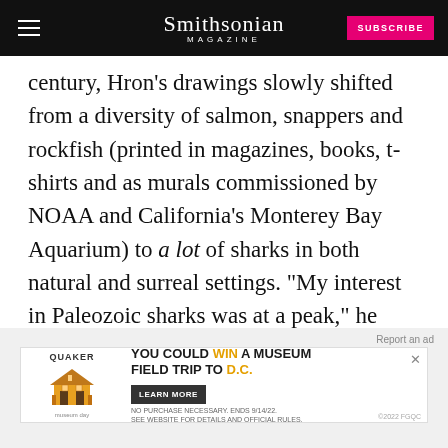Smithsonian MAGAZINE
century, Hron's drawings slowly shifted from a diversity of salmon, snappers and rockfish (printed in magazines, books, t-shirts and as murals commissioned by NOAA and California's Monterey Bay Aquarium) to a lot of sharks in both natural and surreal settings. "My interest in Paleozoic sharks was at a peak," he says.
[Figure (screenshot): Quaker Museum Day advertisement banner: 'You could WIN a MUSEUM FIELD TRIP TO D.C.' with Learn More button]